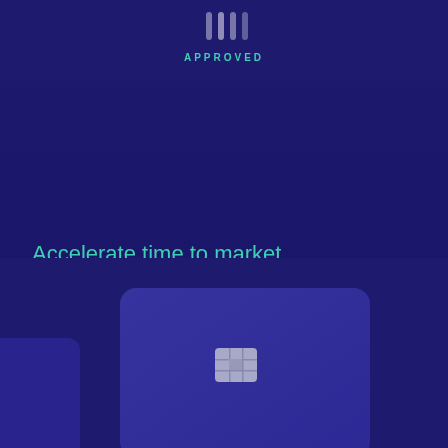[Figure (illustration): Partial UI screen showing an approved status indicator with teal checkmark or arc graphic at the top of the page]
APPROVED
Accelerate time to market
Leverage existing relationships with issuing banks, networks, and card fulfillment providers to go live in days not months.
[Figure (illustration): Credit card illustration (purple/indigo card with EMV chip) partially visible at the bottom of the page, along with a smaller blue card shape at the bottom left]